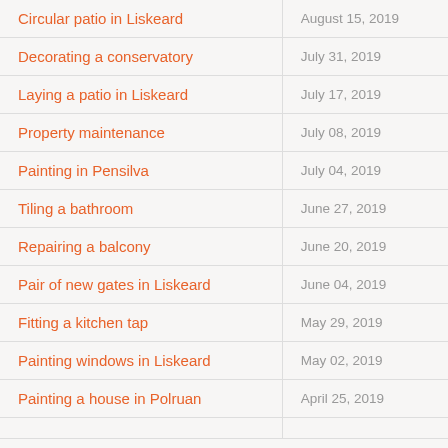| Title | Date |
| --- | --- |
| Circular patio in Liskeard | August 15, 2019 |
| Decorating a conservatory | July 31, 2019 |
| Laying a patio in Liskeard | July 17, 2019 |
| Property maintenance | July 08, 2019 |
| Painting in Pensilva | July 04, 2019 |
| Tiling a bathroom | June 27, 2019 |
| Repairing a balcony | June 20, 2019 |
| Pair of new gates in Liskeard | June 04, 2019 |
| Fitting a kitchen tap | May 29, 2019 |
| Painting windows in Liskeard | May 02, 2019 |
| Painting a house in Polruan | April 25, 2019 |